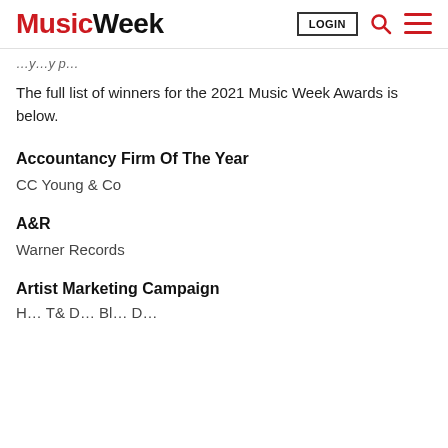Music Week | LOGIN
The full list of winners for the 2021 Music Week Awards is below.
Accountancy Firm Of The Year
CC Young & Co
A&R
Warner Records
Artist Marketing Campaign